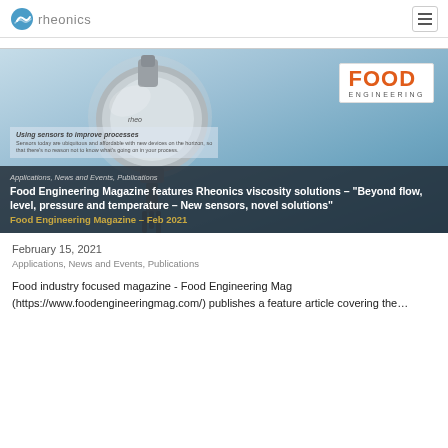rheonics
[Figure (photo): Feature image showing a Rheonics viscosity sensor (metal probe device) on a light blue gradient background, with a Food Engineering magazine logo in the upper right, and text overlay showing article categories, title, and magazine attribution.]
Applications, News and Events, Publications
Food Engineering Magazine features Rheonics viscosity solutions – "Beyond flow, level, pressure and temperature – New sensors, novel solutions"
Food Engineering Magazine – Feb 2021
February 15, 2021
Applications, News and Events, Publications
Food industry focused magazine - Food Engineering Mag (https://www.foodengineeringmag.com/) publishes a feature article covering the...